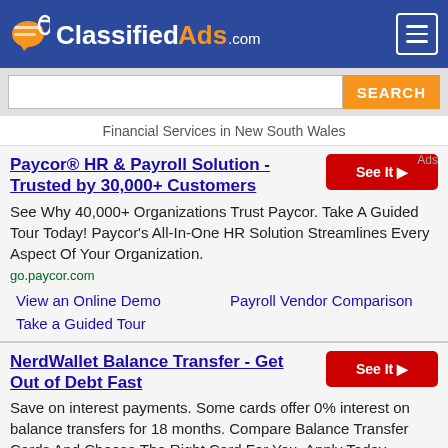ClassifiedAds.com
Financial Services in New South Wales
Ads
Paycor® HR & Payroll Solution - Trusted by 30,000+ Customers
See Why 40,000+ Organizations Trust Paycor. Take A Guided Tour Today! Paycor's All-In-One HR Solution Streamlines Every Aspect Of Your Organization.
go.paycor.com
View an Online Demo
Payroll Vendor Comparison
Take a Guided Tour
NerdWallet Balance Transfer - Get Out of Debt Fast
Save on interest payments. Some cards offer 0% interest on balance transfers for 18 months. Compare Balance Transfer Cards And Choose The Right Card For You. Apply Today.
www.nerdwallet.com/CreditCards/BalanceTransfer
Low Interest CCs
Balance Transfer Cards
Cash Back Cards
Top 10 Credit Card Deals